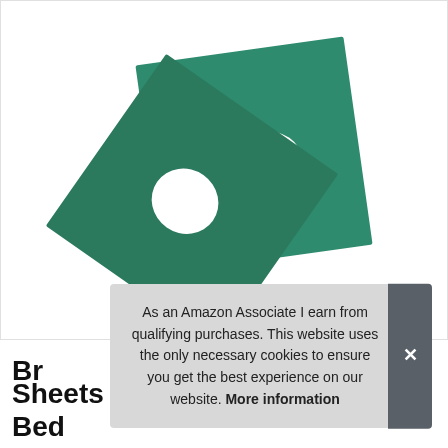[Figure (photo): Two teal/green square massage bed face hole sheets with circular cutouts in the center, overlapping each other against a white background.]
As an Amazon Associate I earn from qualifying purchases. This website uses the only necessary cookies to ensure you get the best experience on our website. More information
Br
Sheets Cover Cosmetic Tattoo Bed